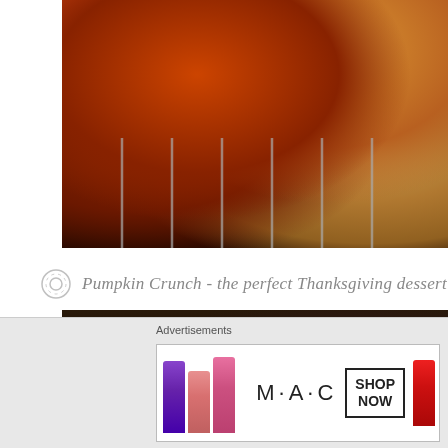[Figure (photo): Close-up photo of a roasted turkey or chicken on a wire rack, showing dark golden-brown to reddish-brown glazed skin, viewed from above]
Pumpkin Crunch - the perfect Thanksgiving dessert
[Figure (photo): Dark close-up photo of nuts or pumpkin crunch dessert ingredients]
Advertisements
[Figure (photo): MAC Cosmetics advertisement showing colorful lipsticks (purple, peach, pink, red) with MAC logo and SHOP NOW box]